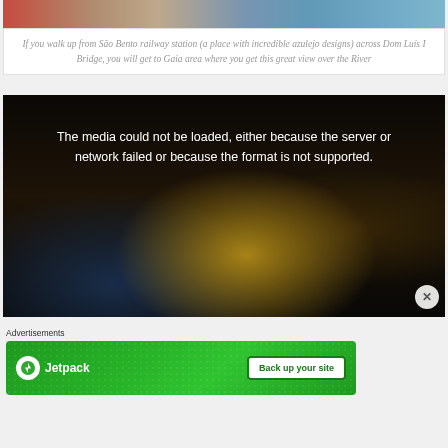[Figure (photo): Top strip of a photo showing São Bento area and river, partially cropped]
If you walk up from São Bento railway station (a place with incredible azulejo designs) across Dom Luís I Bridge, you will get to Gaia area where you get this great view over the River
[Figure (screenshot): Video player showing error message: The media could not be loaded, either because the server or network failed or because the format is not supported. Dark background with faint nighttime imagery visible.]
Advertisements
[Figure (infographic): Jetpack advertisement banner with green background showing Jetpack logo and 'Back up your site' button]